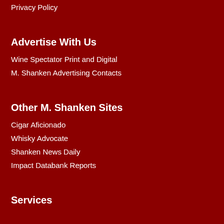Privacy Policy
Advertise With Us
Wine Spectator Print and Digital
M. Shanken Advertising Contacts
Other M. Shanken Sites
Cigar Aficionado
Whisky Advocate
Shanken News Daily
Impact Databank Reports
Services